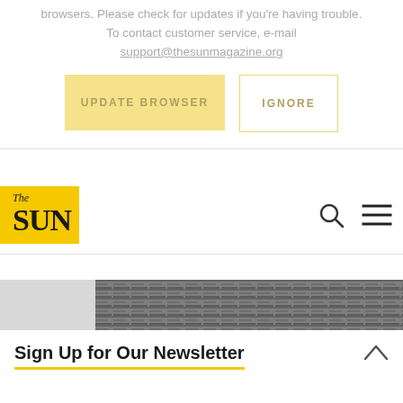browsers. Please check for updates if you're having trouble. To contact customer service, e-mail support@thesunmagazine.org
[Figure (screenshot): Two buttons: a yellow filled 'UPDATE BROWSER' button and a white outlined 'IGNORE' button]
[Figure (logo): The Sun magazine logo — yellow background with 'The SUN' in bold serif text]
[Figure (screenshot): Navigation bar with search icon and hamburger menu icon on the right]
[Figure (photo): Partial grayscale hero image of newspaper/magazine pages]
Sign Up for Our Newsletter